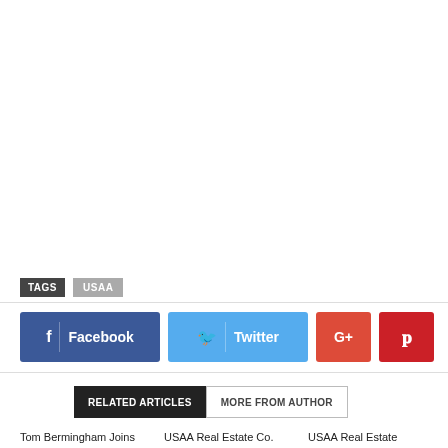TAGS  USAA
[Figure (infographic): Social media share buttons: Facebook, Twitter, Google+, Pinterest]
RELATED ARTICLES  MORE FROM AUTHOR
Tom Bermingham Joins  USAA Real Estate Co.  USAA Real Estate